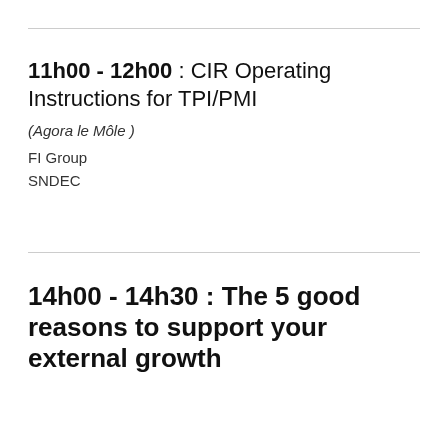11h00 - 12h00 : CIR Operating Instructions for TPI/PMI
(Agora le Môle )
FI Group
SNDEC
14h00 - 14h30 : The 5 good reasons to support your external growth